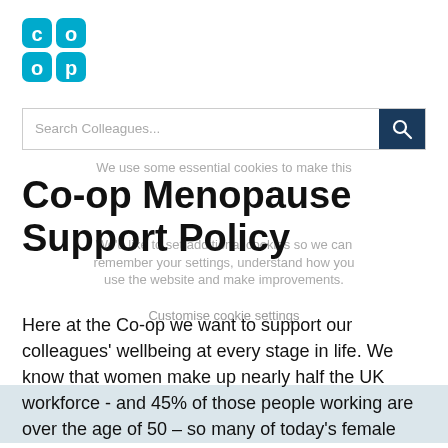[Figure (logo): Co-op logo in teal/cyan colour, showing 'co' and 'op' stacked in rounded square letterforms]
[Figure (screenshot): Search bar with placeholder text 'Search Colleagues...' and a dark blue search button with magnifying glass icon]
We use some essential cookies to make this
Co-op Menopause Support Policy
We'd like to set additional cookies so we can remember your settings, understand how you use the website and make improvements.
Customise cookie settings
Here at the Co-op we want to support our colleagues' wellbeing at every stage in life. We know that women make up nearly half the UK workforce - and 45% of those people working are over the age of 50 – so many of today's female workers will be working through the perimenopause and menopause and managing the symptoms at work.